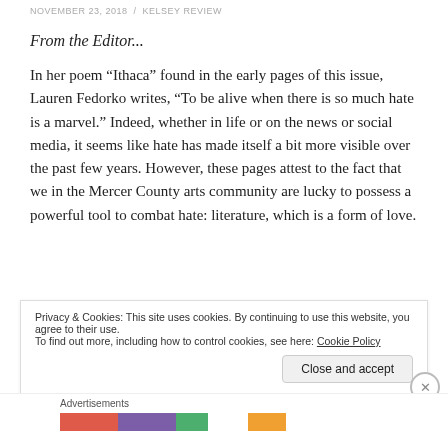NOVEMBER 23, 2018 / KELSEY REVIEW
From the Editor...
In her poem “Ithaca” found in the early pages of this issue, Lauren Fedorko writes, “To be alive when there is so much hate is a marvel.” Indeed, whether in life or on the news or social media, it seems like hate has made itself a bit more visible over the past few years. However, these pages attest to the fact that we in the Mercer County arts community are lucky to possess a powerful tool to combat hate: literature, which is a form of love.
Privacy & Cookies: This site uses cookies. By continuing to use this website, you agree to their use.
To find out more, including how to control cookies, see here: Cookie Policy
Close and accept
Advertisements